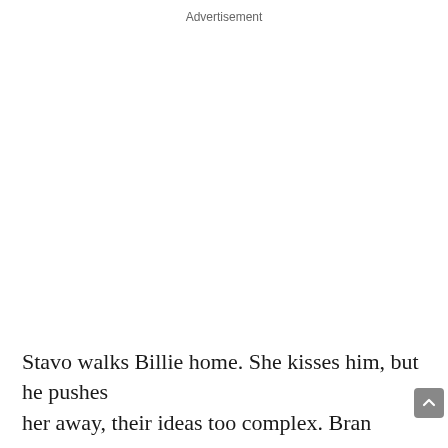Advertisement
Stavo walks Billie home. She kisses him, but he pushes her away, their ideas too complex. Brandon is also not